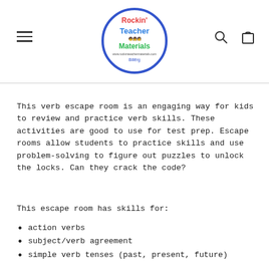[Figure (logo): Rockin' Teacher Materials logo — circular blue border with colorful text and cartoon children inside]
This verb escape room is an engaging way for kids to review and practice verb skills. These activities are good to use for test prep. Escape rooms allow students to practice skills and use problem-solving to figure out puzzles to unlock the locks. Can they crack the code?
This escape room has skills for:
action verbs
subject/verb agreement
simple verb tenses (past, present, future)